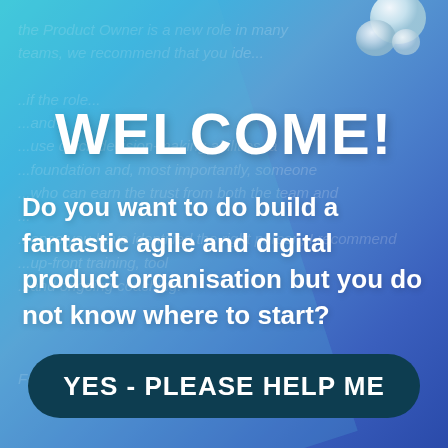WELCOME!
Do you want to do build a fantastic agile and digital product organisation but you do not know where to start?
YES - PLEASE HELP ME